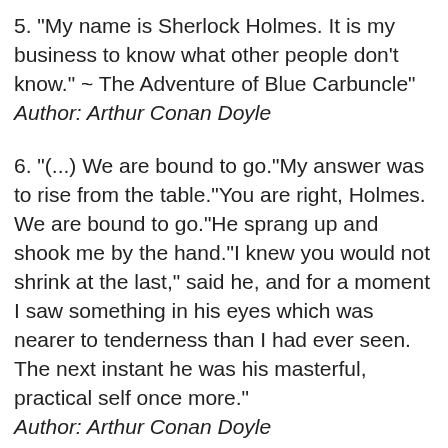5. "My name is Sherlock Holmes. It is my business to know what other people don't know." ~ The Adventure of Blue Carbuncle"
Author: Arthur Conan Doyle
6. "(...) We are bound to go."My answer was to rise from the table."You are right, Holmes. We are bound to go."He sprang up and shook me by the hand."I knew you would not shrink at the last," said he, and for a moment I saw something in his eyes which was nearer to tenderness than I had ever seen. The next instant he was his masterful, practical self once more."
Author: Arthur Conan Doyle
7. "Holmes was for the moment as startled as I. His hand closed like a vice upon my wrist in his agitation. Then he broke into a low laugh and put his lips to my ear."It is a nice household," he murmured. "That is the baboon."